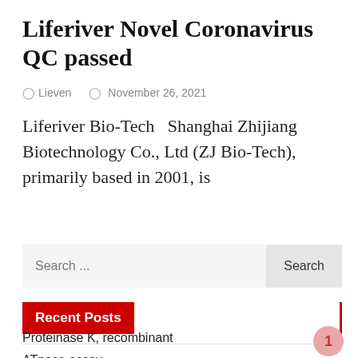Liferiver Novel Coronavirus QC passed
Lieven   November 26, 2021
Liferiver Bio-Tech   Shanghai Zhijiang Biotechnology Co., Ltd (ZJ Bio-Tech), primarily based in 2001, is
Search ...
Recent Posts
Proteinase K, recombinant
ATpase assay